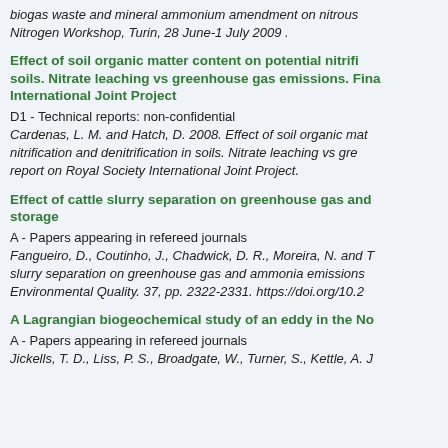biogas waste and mineral ammonium amendment on nitrous Nitrogen Workshop, Turin, 28 June-1 July 2009 .
Effect of soil organic matter content on potential nitrifi soils. Nitrate leaching vs greenhouse gas emissions. Fina International Joint Project
D1 - Technical reports: non-confidential
Cardenas, L. M. and Hatch, D. 2008. Effect of soil organic mat nitrification and denitrification in soils. Nitrate leaching vs gre report on Royal Society International Joint Project.
Effect of cattle slurry separation on greenhouse gas and storage
A - Papers appearing in refereed journals
Fangueiro, D., Coutinho, J., Chadwick, D. R., Moreira, N. and T slurry separation on greenhouse gas and ammonia emissions Environmental Quality. 37, pp. 2322-2331. https://doi.org/10.2
A Lagrangian biogeochemical study of an eddy in the No
A - Papers appearing in refereed journals
Jickells, T. D., Liss, P. S., Broadgate, W., Turner, S., Kettle, A. J